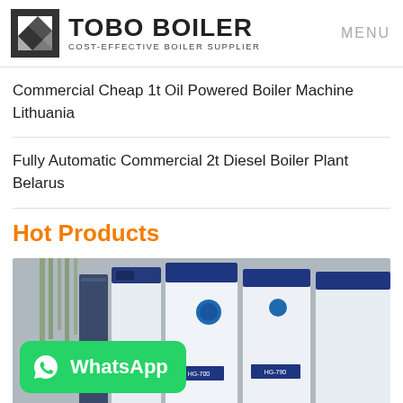[Figure (logo): TOBO BOILER logo with geometric icon and tagline COST-EFFECTIVE BOILER SUPPLIER, with MENU text on right]
Commercial Cheap 1t Oil Powered Boiler Machine Lithuania
Fully Automatic Commercial 2t Diesel Boiler Plant Belarus
Hot Products
[Figure (photo): Industrial boiler units (blue and white vertical units labeled HG-700 and HG-790) in an outdoor setting with bamboo in background, with a WhatsApp contact badge overlay]